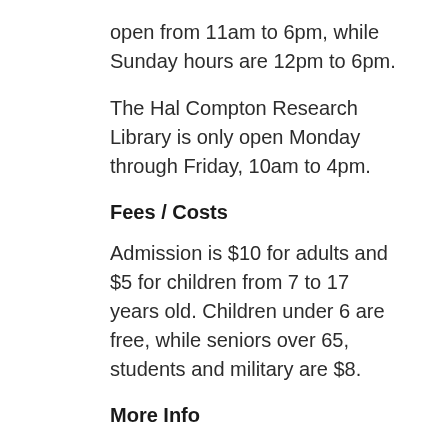open from 11am to 6pm, while Sunday hours are 12pm to 6pm.
The Hal Compton Research Library is only open Monday through Friday, 10am to 4pm.
Fees / Costs
Admission is $10 for adults and $5 for children from 7 to 17 years old. Children under 6 are free, while seniors over 65, students and military are $8.
More Info
Parking is available at various locations near the museum. Main Street parking is metered, while much of the parking on Swede Alley is free of charge, but time-limited.